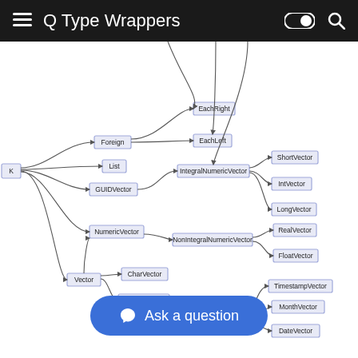Q Type Wrappers
[Figure (network-graph): A hierarchical type hierarchy / network graph showing Q type wrappers. Root node 'K' on left connects to 'Vector' node, which branches to: Foreign (connecting to EachRight, EachLeft), List, GUIDVector, NumericVector (connecting to IntegralNumericVector -> ShortVector, IntVector, LongVector; and NonIntegralNumericVector -> RealVector, FloatVector), CharVector, SymbolVector (connecting to TemporalFixedVector -> TimestampVector, MonthVector, DateVector, DatetimeVector).]
Ask a question